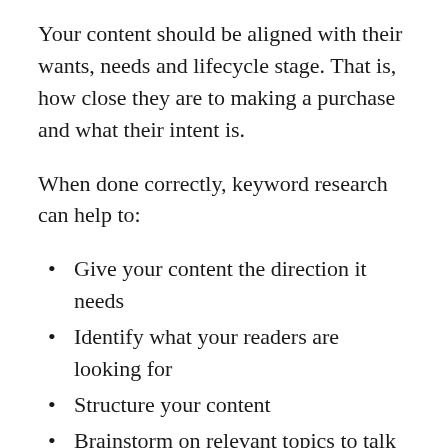Your content should be aligned with their wants, needs and lifecycle stage. That is, how close they are to making a purchase and what their intent is.
When done correctly, keyword research can help to:
Give your content the direction it needs
Identify what your readers are looking for
Structure your content
Brainstorm on relevant topics to talk about
Remove any obscenely high competition ideas
Keyword research tools like Ahrefs can really